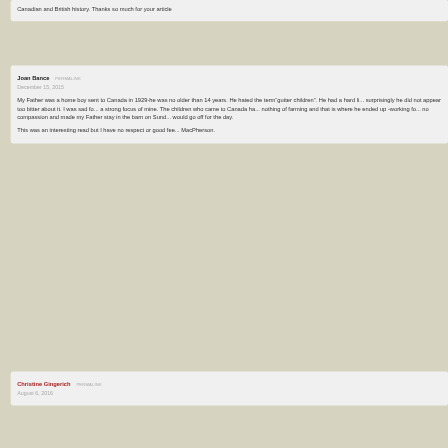Canadian and British history. Thanks so much for your article
Joan Bance  PERMALINK
December 15, 2015
My Father was a home boy sent to Canada in 1929-he was no older than 14 years. He hated the term“gutter children”. He had a hard life but surprisingly he did not appear too bitter about it. I was sad for him, it was a strong focus of mine. The children who came to Canada had known nothing of farming and that is where he ended up -working for a man with no compassion and made my Father stay in the barn on Sundays while they would go off for the day.
This was an interesting read but I have no respect or good fee... MacPherson.
Christine Gingerich  PERMALINK
August 6, 2016